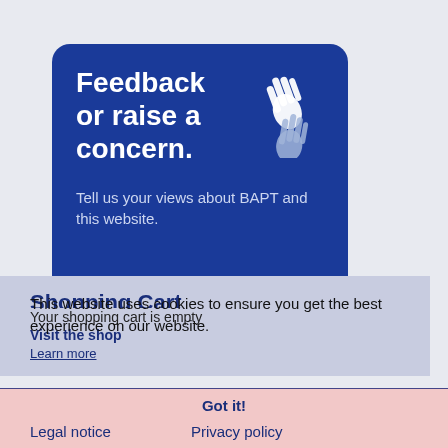[Figure (illustration): Dark blue rounded rectangle card with white bold text 'Feedback or raise a concern.' and lighter blue subtext 'Tell us your views about BAPT and this website.' Two hand icons (one white, one light blue/grey) appear on the right side of the card.]
Shopping Cart
Your shopping cart is empty
Visit the shop
Learn more
This website uses cookies to ensure you get the best experience on our website.
Got it!
Legal notice   Privacy policy